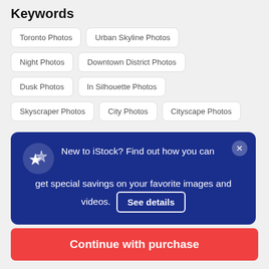Keywords
Toronto Photos
Urban Skyline Photos
Night Photos
Downtown District Photos
Dusk Photos
In Silhouette Photos
Skyscraper Photos
City Photos
Cityscape Photos
[Figure (screenshot): Popup dialog on dark blue background with star icon. Text: 'New to iStock? Find out how you can get special savings on your favorite images and videos.' with a 'See details' button.]
$12 | 1 credit
Continue with purchase